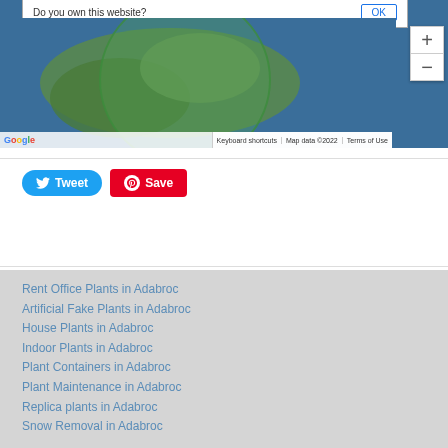[Figure (map): Google Map showing a coastal/island area with a green semi-transparent circle overlay. Map has zoom controls (+/-) on the right side, Google logo bottom-left, and footer bar reading 'Keyboard shortcuts | Map data ©2022 | Terms of Use'. A dialog box at the top reads 'Do you own this website?' with an 'OK' button.]
Tweet
Save
Rent Office Plants in Adabroc
Artificial Fake Plants in Adabroc
House Plants in Adabroc
Indoor Plants in Adabroc
Plant Containers in Adabroc
Plant Maintenance in Adabroc
Replica plants in Adabroc
Snow Removal in Adabroc